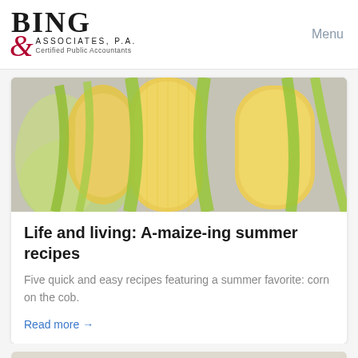Bing & Associates, P.A. Certified Public Accountants | Menu
[Figure (photo): Close-up photo of ears of corn on the cob with green husks, on a light gray background]
Life and living: A-maize-ing summer recipes
Five quick and easy recipes featuring a summer favorite: corn on the cob.
Read more →